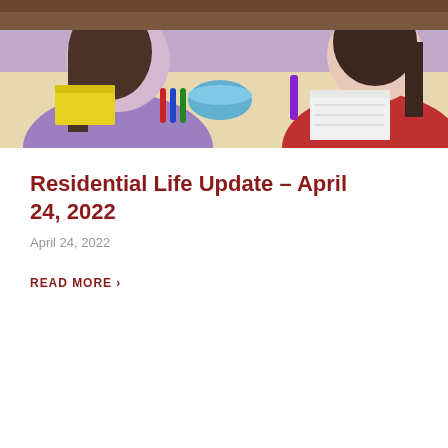[Figure (photo): Two students sitting at a table with school supplies including markers, a blue bowl, notebooks, and various art materials. One student wears a purple hoodie, the other wears a red hoodie.]
Residential Life Update – April 24, 2022
April 24, 2022
READ MORE ›